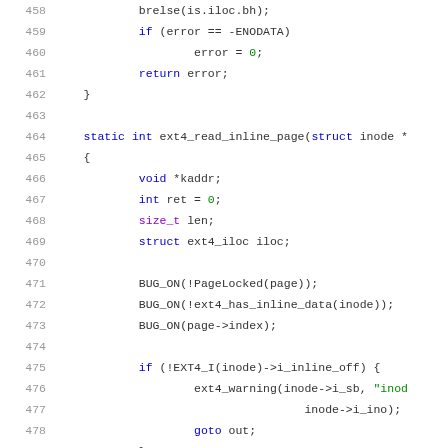[Figure (screenshot): Source code listing showing lines 458-479 of a C file (ext4 filesystem), with syntax highlighting. Line numbers in gray on left, keywords in blue, types in purple, string literals in green, plain code in dark gray.]